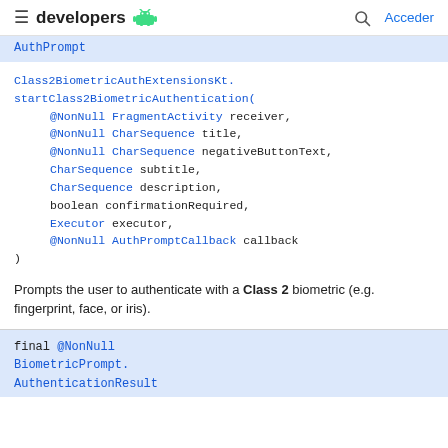≡ developers 🤖  🔍 Acceder
AuthPrompt
Class2BiometricAuthExtensionsKt.
startClass2BiometricAuthentication(
    @NonNull FragmentActivity receiver,
    @NonNull CharSequence title,
    @NonNull CharSequence negativeButtonText,
    CharSequence subtitle,
    CharSequence description,
    boolean confirmationRequired,
    Executor executor,
    @NonNull AuthPromptCallback callback
)
Prompts the user to authenticate with a Class 2 biometric (e.g. fingerprint, face, or iris).
final @NonNull BiometricPrompt.
AuthenticationResult